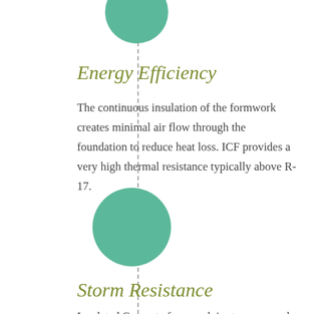Energy Efficiency
The continuous insulation of the formwork creates minimal air flow through the foundation to reduce heat loss. ICF provides a very high thermal resistance typically above R-17.
Storm Resistance
Insulated Concrete formwork is strong enough to